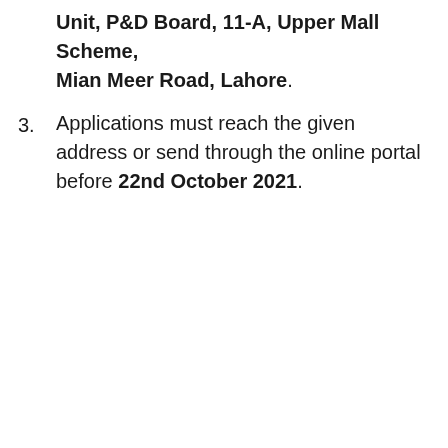Unit, P&D Board, 11-A, Upper Mall Scheme, Mian Meer Road, Lahore.
Applications must reach the given address or send through the online portal before 22nd October 2021.